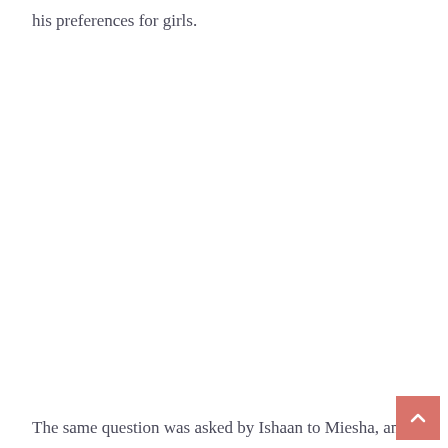his preferences for girls.
The same question was asked by Ishaan to Miesha, and